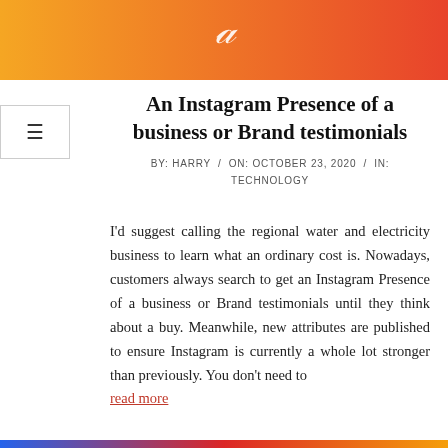[Figure (illustration): Header banner with orange-to-red gradient and a white italic script letter/logo]
An Instagram Presence of a business or Brand testimonials
BY: HARRY / ON: OCTOBER 23, 2020 / IN: TECHNOLOGY
I’d suggest calling the regional water and electricity business to learn what an ordinary cost is. Nowadays, customers always search to get an Instagram Presence of a business or Brand testimonials until they think about a buy. Meanwhile, new attributes are published to ensure Instagram is currently a whole lot stronger than previously. You don’t need to read more
[Figure (illustration): Bottom color bar with blue, red, and yellow segments]